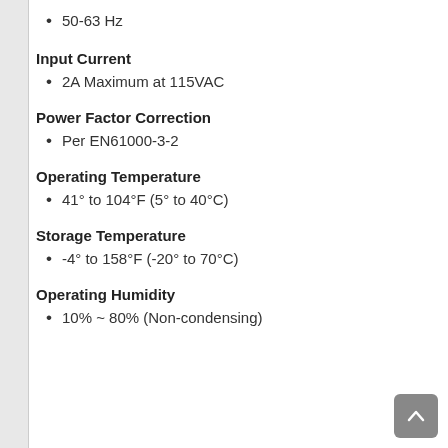50-63 Hz
Input Current
2A Maximum at 115VAC
Power Factor Correction
Per EN61000-3-2
Operating Temperature
41° to 104°F (5° to 40°C)
Storage Temperature
-4° to 158°F (-20° to 70°C)
Operating Humidity
10% ~ 80% (Non-condensing)